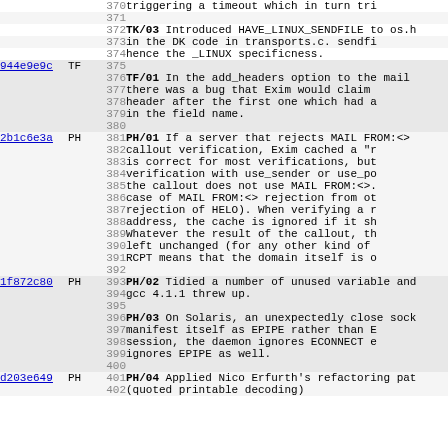| hash | author | linenum | tag | text |
| --- | --- | --- | --- | --- |
|  |  | 370 |  | triggering a timeout which in turn tri |
|  |  | 371 |  |  |
|  |  | 372 | TK/03 | Introduced HAVE_LINUX_SENDFILE to os.h |
|  |  | 373 |  | in the DK code in transports.c. sendfi |
|  |  | 374 |  | hence the _LINUX specificness. |
| 944e9e9c | TF | 375 |  |  |
|  |  | 376 | TF/01 | In the add_headers option to the mail |
|  |  | 377 |  | there was a bug that Exim would claim |
|  |  | 378 |  | header after the first one which had a |
|  |  | 379 |  | in the field name. |
|  |  | 380 |  |  |
| 2b1c6e3a | PH | 381 | PH/01 | If a server that rejects MAIL FROM:<> |
|  |  | 382 |  | callout verification, Exim cached a "r |
|  |  | 383 |  | is correct for most verifications, but |
|  |  | 384 |  | verification with use_sender or use_po |
|  |  | 385 |  | the callout does not use MAIL FROM:<>. |
|  |  | 386 |  | case of MAIL FROM:<> rejection from ot |
|  |  | 387 |  | rejection of HELO). When verifying a r |
|  |  | 388 |  | address, the cache is ignored if it sh |
|  |  | 389 |  | Whatever the result of the callout, th |
|  |  | 390 |  | left unchanged (for any other kind of |
|  |  | 391 |  | RCPT means that the domain itself is o |
|  |  | 392 |  |  |
| 1f872c80 | PH | 393 | PH/02 | Tidied a number of unused variable and |
|  |  | 394 |  | gcc 4.1.1 threw up. |
|  |  | 395 |  |  |
|  |  | 396 | PH/03 | On Solaris, an unexpectedly close sock |
|  |  | 397 |  | manifest itself as EPIPE rather than E |
|  |  | 398 |  | session, the daemon ignores ECONNECT e |
|  |  | 399 |  | ignores EPIPE as well. |
|  |  | 400 |  |  |
| d203e649 | PH | 401 | PH/04 | Applied Nico Erfurth's refactoring pat |
|  |  | 402 |  | (quoted printable decoding) |